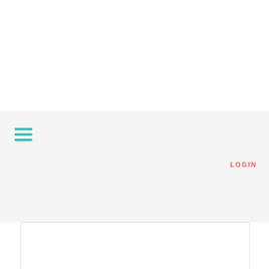[Figure (other): Hamburger menu icon made of three horizontal teal/turquoise lines]
LOGIN
2. Accessories in trousseau packing